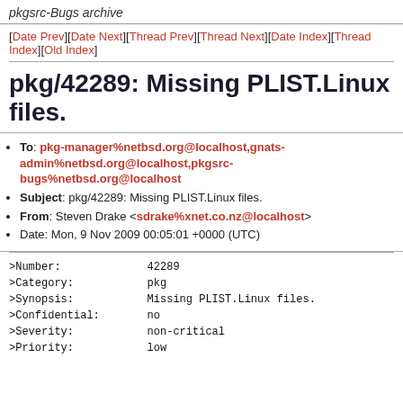pkgsrc-Bugs archive
[Date Prev][Date Next][Thread Prev][Thread Next][Date Index][Thread Index][Old Index]
pkg/42289: Missing PLIST.Linux files.
To: pkg-manager%netbsd.org@localhost,gnats-admin%netbsd.org@localhost,pkgsrc-bugs%netbsd.org@localhost
Subject: pkg/42289: Missing PLIST.Linux files.
From: Steven Drake <sdrake%xnet.co.nz@localhost>
Date: Mon, 9 Nov 2009 00:05:01 +0000 (UTC)
>Number:        42289
>Category:      pkg
>Synopsis:      Missing PLIST.Linux files.
>Confidential:  no
>Severity:      non-critical
>Priority:      low